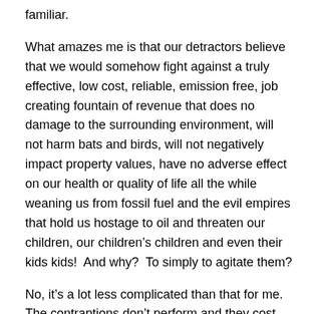familiar.
What amazes me is that our detractors believe that we would somehow fight against a truly effective, low cost, reliable, emission free, job creating fountain of revenue that does no damage to the surrounding environment, will not harm bats and birds, will not negatively impact property values, have no adverse effect on our health or quality of life all the while weaning us from fossil fuel and the evil empires that hold us hostage to oil and threaten our children, our children’s children and even their kids kids!  And why?  To simply to agitate them?
No, it’s a lot less complicated than that for me.  The contraptions don’t perform and they cost the taxpayers a fortune.
Equally as significant, the economic impact is...